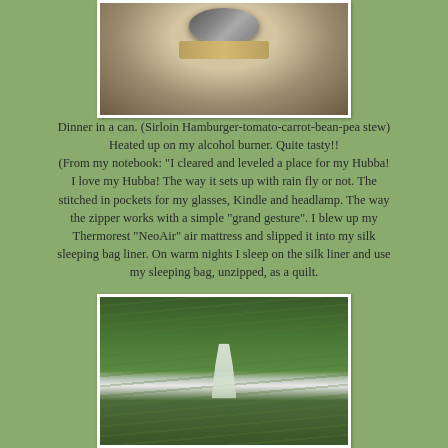[Figure (photo): A can or metal container sitting on gravel/ash, viewed from above, with surrounding rocky ground - dinner cooking on an alcohol burner]
Dinner in a can.  (Sirloin Hamburger-tomato-carrot-bean-pea stew)  Heated up on my alcohol burner.  Quite tasty!!  (From my notebook:  "I cleared and leveled a place for my Hubba!  I love my Hubba!  The way it sets up with rain fly or not.  The stitched in pockets for my glasses, Kindle and headlamp.  The way the zipper works with a simple "grand gesture".  I blew up my Thermorest "NeoAir" air mattress and slipped it into my silk sleeping bag liner.  On warm nights I sleep on the silk liner and use my sleeping bag, unzipped, as a quilt.
[Figure (photo): A waterfall cascading through dense green forest with tall trees and ferns]